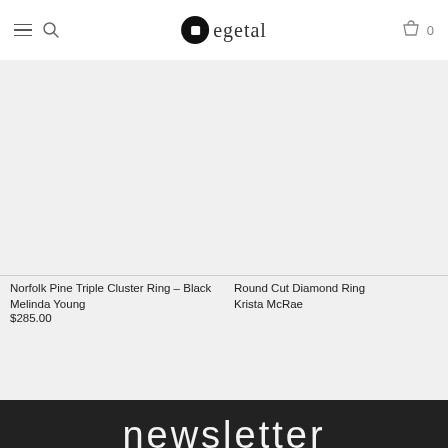egetal — navigation header with hamburger menu, search, logo, and cart (0 items)
[Figure (other): Product listing thumbnail placeholder (grey) for Norfolk Pine Triple Cluster Ring – Black by Melinda Young]
Norfolk Pine Triple Cluster Ring – Black
Melinda Young
$285.00
[Figure (other): Product listing thumbnail placeholder (grey) for Round Cut Diamond Ring by Krista McRae]
Round Cut Diamond Ring
Krista McRae
newsletter